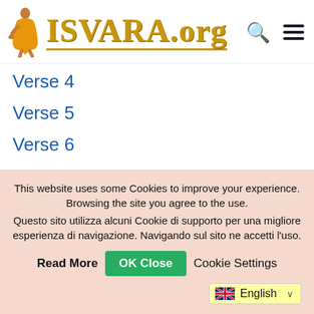[Figure (logo): ISVARA.org website logo with monk figure silhouette and golden text]
Verse 4
Verse 5
Verse 6
Verse 7
Verse 8
This website uses some Cookies to improve your experience. Browsing the site you agree to the use. Questo sito utilizza alcuni Cookie di supporto per una migliore esperienza di navigazione. Navigando sul sito ne accetti l'uso.
Read More   OK Close   Cookie Settings
English